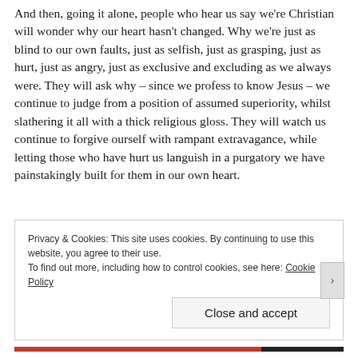And then, going it alone, people who hear us say we're Christian will wonder why our heart hasn't changed.  Why we're just as blind to our own faults, just as selfish, just as grasping, just as hurt, just as angry, just as exclusive and excluding as we always were.  They will ask why – since we profess to know Jesus – we continue to judge from a position of assumed superiority, whilst slathering it all with a thick religious gloss.  They will watch us continue to forgive ourself with rampant extravagance, while letting those who have hurt us languish in a purgatory we have painstakingly built for them in our own heart.
Privacy & Cookies: This site uses cookies. By continuing to use this website, you agree to their use.
To find out more, including how to control cookies, see here: Cookie Policy
Close and accept